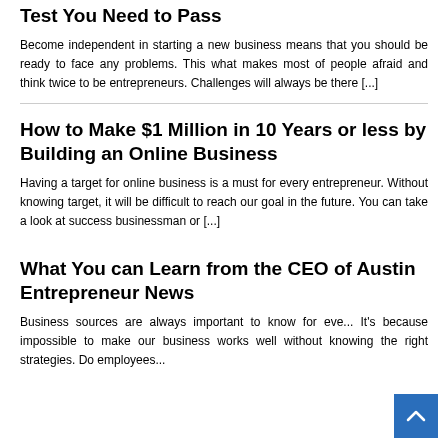Test You Need to Pass
Become independent in starting a new business means that you should be ready to face any problems. This what makes most of people afraid and think twice to be entrepreneurs. Challenges will always be there [...]
How to Make $1 Million in 10 Years or less by Building an Online Business
Having a target for online business is a must for every entrepreneur. Without knowing target, it will be difficult to reach our goal in the future. You can take a look at success businessman or [...]
What You can Learn from the CEO of Austin Entrepreneur News
Business sources are always important to know for every. It's because impossible to make our business works well without knowing the right strategies. Do employees...